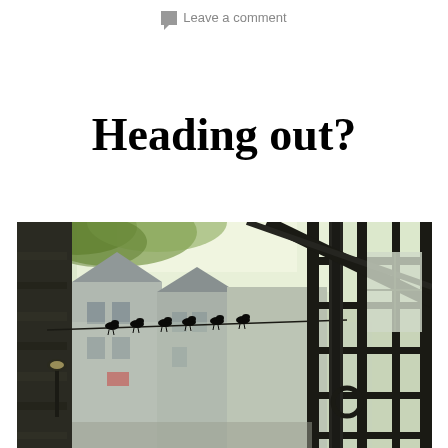Leave a comment
Heading out?
[Figure (photo): Outdoor urban alley scene viewed through an iron gate on the right side. Birds perched on a wire strung across the alley. Stone buildings with gabled roofs in the background, leafy trees visible at the top, and a street lamp on the left wall. Scene has a moody, atmospheric quality with soft light.]